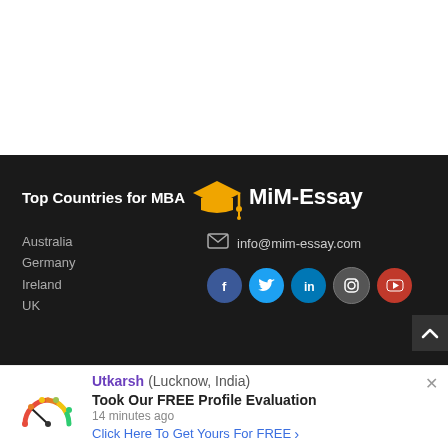[Figure (other): White blank area at top of page]
Top Countries for MBA
[Figure (logo): MiM-Essay logo with graduation cap icon in gold and white text]
Australia
Germany
Ireland
UK
info@mim-essay.com
[Figure (other): Social media icons: Facebook, Twitter, LinkedIn, Instagram, YouTube]
Utkarsh (Lucknow, India) Took Our FREE Profile Evaluation 14 minutes ago Click Here To Get Yours For FREE >
[Figure (other): Gauge/meter icon showing rating]